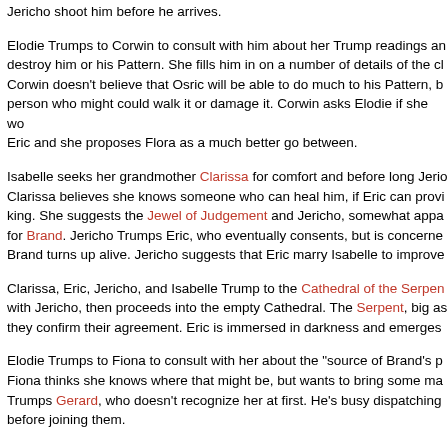Jericho shoot him before he arrives.
Elodie Trumps to Corwin to consult with him about her Trump readings and destroy him or his Pattern. She fills him in on a number of details of the cl... Corwin doesn't believe that Osric will be able to do much to his Pattern, b... person who might could walk it or damage it. Corwin asks Elodie if she wo... Eric and she proposes Flora as a much better go between.
Isabelle seeks her grandmother Clarissa for comfort and before long Jeri... Clarissa believes she knows someone who can heal him, if Eric can provi... king. She suggests the Jewel of Judgement and Jericho, somewhat appa... for Brand. Jericho Trumps Eric, who eventually consents, but is concerne... Brand turns up alive. Jericho suggests that Eric marry Isabelle to improve...
Clarissa, Eric, Jericho, and Isabelle Trump to the Cathedral of the Serpen... with Jericho, then proceeds into the empty Cathedral. The Serpent, big as... they confirm their agreement. Eric is immersed in darkness and emerges...
Elodie Trumps to Fiona to consult with her about the "source of Brand's p... Fiona thinks she knows where that might be, but wants to bring some ma... Trumps Gerard, who doesn't recognize her at first. He's busy dispatching... before joining them.
Fiona and Gerhardt talk by Trump. The site he has chosen to investigate i... Elodie to, so they arrange to all go there together. Gerhardt makes a quic... with a Golden Circle member over delivery of coffee. Apparently they rece... of brewing them. Benedict lends him thirty special forces members under... with them.
Fiona leads the party to a shadow of elemental fury — the Keep of the Fo... out of sight to come across as less hostile and approach the keep. A blo...